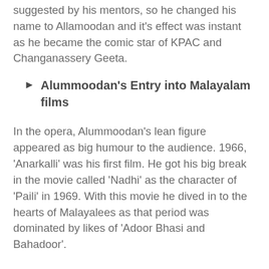suggested by his mentors, so he changed his name to Allamoodan and it's effect was instant as he became the comic star of KPAC and Changanassery Geeta.
Alummoodan's Entry into Malayalam films
In the opera, Alummoodan's lean figure appeared as big humour to the audience. 1966, 'Anarkalli' was his first film. He got his big break in the movie called 'Nadhi' as the character of 'Paili' in 1969. With this movie he dived in to the hearts of Malayalees as that period was dominated by likes of 'Adoor Bhasi and Bahadoor'.